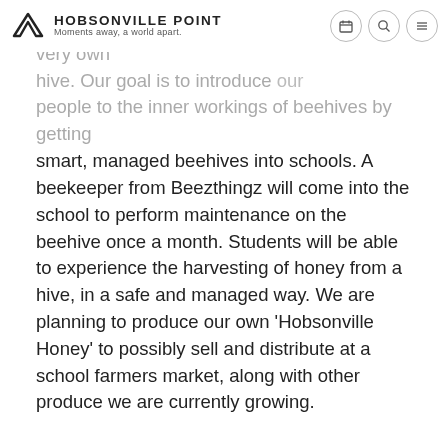Hobsonville Point — Moments away, a world apart.
Beezthingz, who have provided us with our very own hive. Our goal is to introduce people to the inner workings of beehives by getting smart, managed beehives into schools. A beekeeper from Beezthingz will come into the school to perform maintenance on the beehive once a month. Students will be able to experience the harvesting of honey from a hive, in a safe and managed way. We are planning to produce our own 'Hobsonville Honey' to possibly sell and distribute at a school farmers market, along with other produce we are currently growing.
The bees will be of great benefit to the school garden and the community. Bees are natural pollinators, and they will ensure our school gardens are growing healthily. They are invaluable to our environment and are currently under threat due to loss of habitat. Students will learn how to protect and look after the bees, and hope to spread awareness amongst the wider community about the importance of bees in the